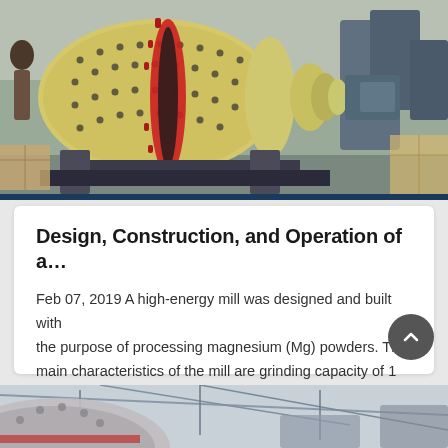[Figure (photo): Industrial ball mill machine with large yellow cylindrical drum mounted on a dark metal frame with a large gear/ring drive, photographed in a factory or warehouse setting with other machinery visible in the background.]
Design, Construction, and Operation of a…
Feb 07, 2019 A high-energy mill was designed and built with the purpose of processing magnesium (Mg) powders. The main characteristics of the mill are grinding capacity of 1 kg…
[Figure (photo): Partial view of large industrial mill machinery inside a building/warehouse, showing curved metal surfaces and structural roof beams in the background.]